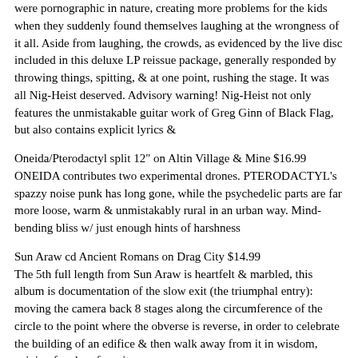were pornographic in nature, creating more problems for the kids when they suddenly found themselves laughing at the wrongness of it all. Aside from laughing, the crowds, as evidenced by the live disc included in this deluxe LP reissue package, generally responded by throwing things, spitting, & at one point, rushing the stage. It was all Nig-Heist deserved. Advisory warning! Nig-Heist not only features the unmistakable guitar work of Greg Ginn of Black Flag, but also contains explicit lyrics &
Oneida/Pterodactyl split 12" on Altin Village & Mine $16.99
ONEIDA contributes two experimental drones. PTERODACTYL's spazzy noise punk has long gone, while the psychedelic parts are far more loose, warm & unmistakably rural in an urban way. Mind-bending bliss w/ just enough hints of harshness
Sun Araw cd Ancient Romans on Drag City $14.99
The 5th full length from Sun Araw is heartfelt & marbled, this album is documentation of the slow exit (the triumphal entry): moving the camera back 8 stages along the circumference of the circle to the point where the obverse is reverse, in order to celebrate the building of an edifice & then walk away from it in wisdom, gaining freedom from it.
Sun Araw lp Ancient Romans on Drag City $21.99
"Ancient Romans" will be available as a 2xLP on WHITE VINYL